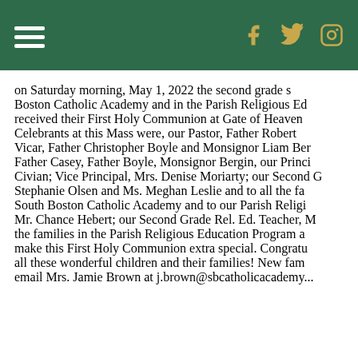[hamburger menu] [Facebook] [Twitter] [Instagram]
On Saturday morning, May 1, 2022 the second grade students at South Boston Catholic Academy and in the Parish Religious Ed received their First Holy Communion at Gate of Heaven. Celebrants at this Mass were, our Pastor, Father Robert Casey; Vicar, Father Christopher Boyle and Monsignor Liam Bergin. Father Casey, Father Boyle, Monsignor Bergin, our Principal, Mrs. Civian; Vice Principal, Mrs. Denise Moriarty; our Second Grade Teachers, Stephanie Olsen and Ms. Meghan Leslie and to all the families at South Boston Catholic Academy and to our Parish Religious Ed Director, Mr. Chance Hebert; our Second Grade Rel. Ed. Teacher, Ms. and to all the families in the Parish Religious Education Program and all who helped to make this First Holy Communion extra special. Congratulations to all these wonderful children and their families! New families please email Mrs. Jamie Brown at j.brown@sbcatholicacademy...